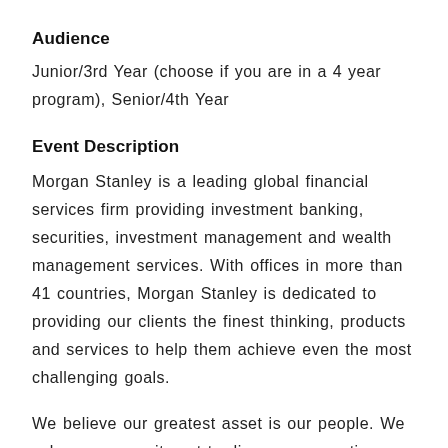Audience
Junior/3rd Year (choose if you are in a 4 year program), Senior/4th Year
Event Description
Morgan Stanley is a leading global financial services firm providing investment banking, securities, investment management and wealth management services. With offices in more than 41 countries, Morgan Stanley is dedicated to providing our clients the finest thinking, products and services to help them achieve even the most challenging goals.
We believe our greatest asset is our people. We value our commitment to diverse perspectives and